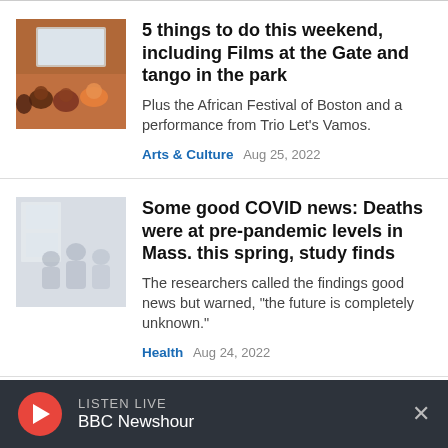[Figure (photo): Audience watching a presentation in a darkened room with a projected screen]
5 things to do this weekend, including Films at the Gate and tango in the park
Plus the African Festival of Boston and a performance from Trio Let's Vamos.
Arts & Culture  Aug 25, 2022
[Figure (photo): People in a bright indoor setting, grayscale/light photo]
Some good COVID news: Deaths were at pre-pandemic levels in Mass. this spring, study finds
The researchers called the findings good news but warned, "the future is completely unknown."
Health  Aug 24, 2022
LISTEN LIVE BBC Newshour